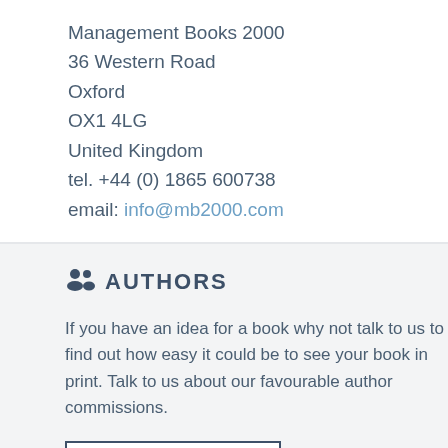Management Books 2000
36 Western Road
Oxford
OX1 4LG
United Kingdom
tel. +44 (0) 1865 600738
email: info@mb2000.com
AUTHORS
If you have an idea for a book why not talk to us to find out how easy it could be to see your book in print. Talk to us about our favourable author commissions.
FIND OUT MORE